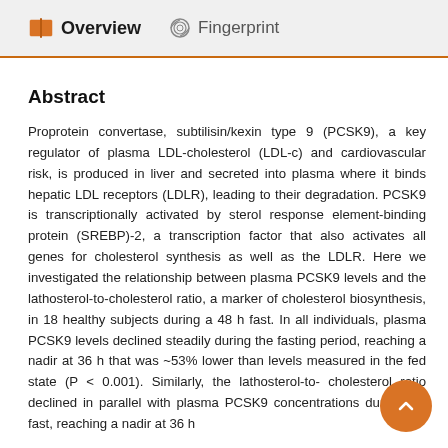Overview  Fingerprint
Abstract
Proprotein convertase, subtilisin/kexin type 9 (PCSK9), a key regulator of plasma LDL-cholesterol (LDL-c) and cardiovascular risk, is produced in liver and secreted into plasma where it binds hepatic LDL receptors (LDLR), leading to their degradation. PCSK9 is transcriptionally activated by sterol response element-binding protein (SREBP)-2, a transcription factor that also activates all genes for cholesterol synthesis as well as the LDLR. Here we investigated the relationship between plasma PCSK9 levels and the lathosterol-to-cholesterol ratio, a marker of cholesterol biosynthesis, in 18 healthy subjects during a 48 h fast. In all individuals, plasma PCSK9 levels declined steadily during the fasting period, reaching a nadir at 36 h that was ~53% lower than levels measured in the fed state (P < 0.001). Similarly, the lathosterol-to- cholesterol ratio declined in parallel with plasma PCSK9 concentrations during the fast, reaching a nadir at 36 h